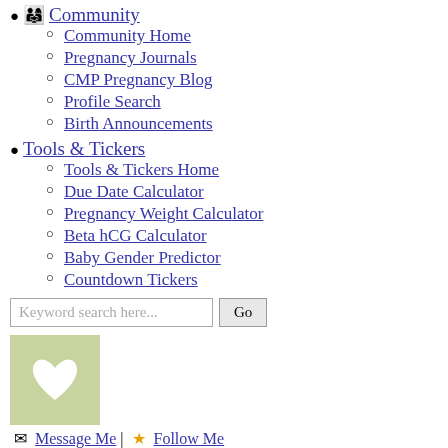Community
Community Home
Pregnancy Journals
CMP Pregnancy Blog
Profile Search
Birth Announcements
Tools & Tickers
Tools & Tickers Home
Due Date Calculator
Pregnancy Weight Calculator
Beta hCG Calculator
Baby Gender Predictor
Countdown Tickers
Keyword search here...  Go
[Figure (illustration): Green square profile picture with white heart in the center]
✉ Message Me | ★ Follow Me
Joined Feb. 3, 2015 8:24am
tmhess's Pregnancy